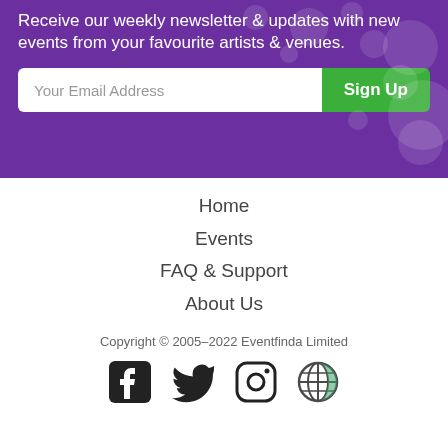Receive our weekly newsletter & updates with new events from your favourite artists & venues.
Your Email Address | Sign Up
Home
Events
FAQ & Support
About Us
Copyright © 2005–2022 Eventfinda Limited
[Figure (other): Social media icons: Facebook, Twitter, Instagram, Eventfinda app icon]